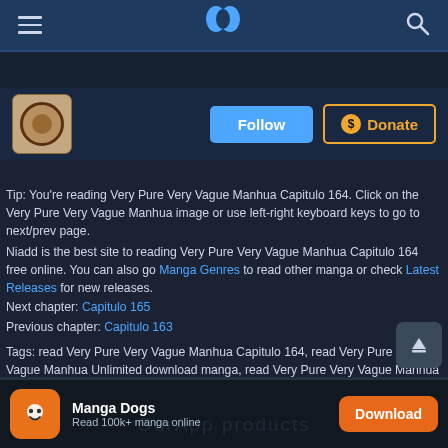[Figure (screenshot): Mobile website navbar with hamburger menu, blue N logo, and search icon on dark blue background]
[Figure (screenshot): Manga series cover thumbnail (brown circular icon) with Follow button and Donate button]
Tip: You're reading Very Pure Very Vague Manhua Capitulo 164. Click on the Very Pure Very Vague Manhua image or use left-right keyboard keys to go to next/prev page.
Niadd is the best site to reading Very Pure Very Vague Manhua Capitulo 164 free online. You can also go Manga Genres to read other manga or check Latest Releases for new releases.
Next chapter: Capitulo 165
Previous chapter: Capitulo 163
Tags: read Very Pure Very Vague Manhua Capitulo 164, read Very Pure Very Vague Manhua Unlimited download manga, read Very Pure Very Vague Manhua Capitulo 164 online, Very Pure Very Vague Manhua Capitulo 164 free online, Very Pure Very Vague Manhua Capitulo 164 english, Very Pure Very Vague Manhua Capitulo 164 English Manga, Very Pure Very Vague Manhua Capitulo 164 high quality, Very Pure Very Vague Manhua Capitulo 164 Manga List
[Figure (screenshot): Scroll-to-top button (grey square with up arrow icon)]
[Figure (screenshot): App download banner: Manga Dogs app icon, 'Manga Dogs / Read 100k+ manga online', orange Download button]